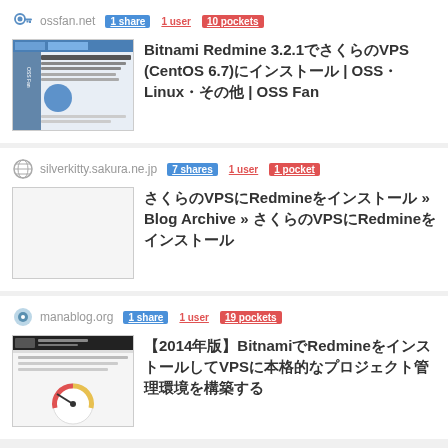ossfan.net — 1 share, 1 user, 10 pockets — Bitnami Redmine 3.2.1でさくらのVPS (CentOS 6.7)にインストール | OSS・Linux・その他 | OSS Fan
silverkitty.sakura.ne.jp — 7 shares, 1 user, 1 pocket — さくらのVPSにRedmineをインストール » Blog Archive » さくらのVPSにRedmineをインストール
manablog.org — 1 share, 1 user, 19 pockets — 【2014年版】BitnamiでRedmineをインストールしてVPSに本格的なプロジェクト管理環境を構築する